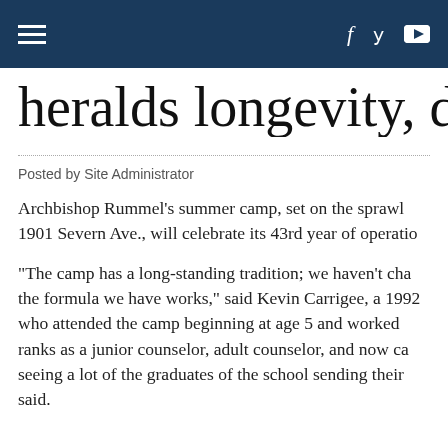heralds longevity, dive
Posted by Site Administrator
Archbishop Rummel's summer camp, set on the sprawl 1901 Severn Ave., will celebrate its 43rd year of operatio
“The camp has a long-standing tradition; we haven’t cha the formula we have works,” said Kevin Carrigee, a 1992 who attended the camp beginning at age 5 and worked ranks as a junior counselor, adult counselor, and now ca seeing a lot of the graduates of the school sending their said.